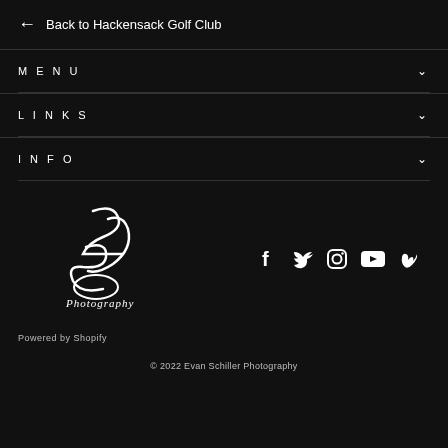← Back to Hackensack Golf Club
MENU
LINKS
INFO
[Figure (logo): 2JS Photography cursive signature logo in white on black background]
[Figure (infographic): Social media icons: Facebook, Twitter, Instagram, YouTube, Vimeo]
Powered by Shopify
© 2022 Evan Schiller Photography